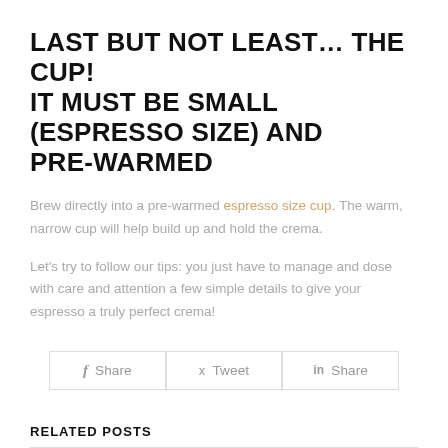LAST BUT NOT LEAST… THE CUP! IT MUST BE SMALL (ESPRESSO SIZE) AND PRE-WARMED
Brew directly into a pre-warmed espresso size cup. The warm, narrow cup will help build up and hold the crema.
Let's try to follow our tips: you just have to manage and dose with care and attention a few simple details to give your espresso a truly perfect crema!
[Figure (other): Social share buttons: f Share, Tweet, in Share]
RELATED POSTS